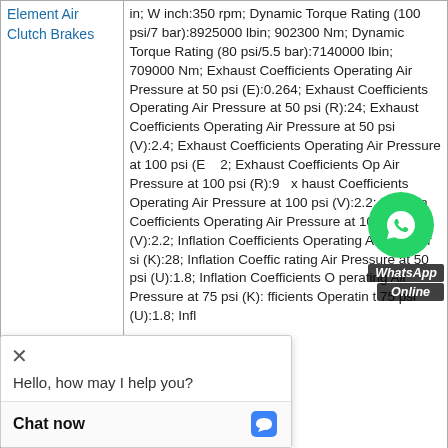| Element | Specifications |
| --- | --- |
| Element Air Clutch Brakes | in; W inch:350 rpm; Dynamic Torque Rating (100 psi/7 bar):8925000 lbin; 902300 Nm; Dynamic Torque Rating (80 psi/5.5 bar):7140000 lbin; 709000 Nm; Exhaust Coefficients Operating Air Pressure at 50 psi (E):0.264; Exhaust Coefficients Operating Air Pressure at 50 psi (R):24; Exhaust Coefficients Operating Air Pressure at 50 psi (V):2.4; Exhaust Coefficients Operating Air Pressure at 100 psi (E):...2; Exhaust Coefficients Operating Air Pressure at 100 psi (R):9...x; haust Coefficients Operating Air Pressure at 100 psi (V):2.2; Inflation Coefficients Operating Air Pressure at 50 psi (K):28; Inflation Coefficients Operating Air Pressure at 50 psi (U):1.8; Inflation Coefficients Operating Air Pressure at 75 psi (K):...; Inflation Coefficients Operating Air Pressure at 75 psi (U):1.8; Infl... |
[Figure (other): WhatsApp Online chat widget overlay with green WhatsApp icon, 'WhatsApp Online' label, and a chat popup with 'Hello, how may I help you?' message and 'Chat now' button.]